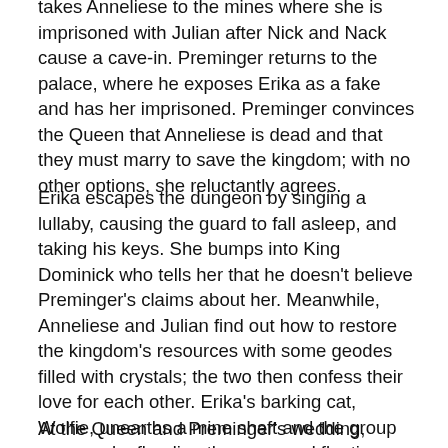takes Anneliese to the mines where she is imprisoned with Julian after Nick and Nack cause a cave-in. Preminger returns to the palace, where he exposes Erika as a fake and has her imprisoned. Preminger convinces the Queen that Anneliese is dead and that they must marry to save the kingdom; with no other options, she reluctantly agrees.
Erika escapes the dungeon by singing a lullaby, causing the guard to fall asleep, and taking his keys. She bumps into King Dominick who tells her that he doesn't believe Preminger's claims about her. Meanwhile, Anneliese and Julian find out how to restore the kingdom's resources with some geodes filled with crystals; the two then confess their love for each other. Erika's barking cat, Wolfie, unearths a mine shaft and the group escapes by flooding the room and floating towards the surface in a barrel.
At the Queen and Preminger's wedding, Anneliese arrives,